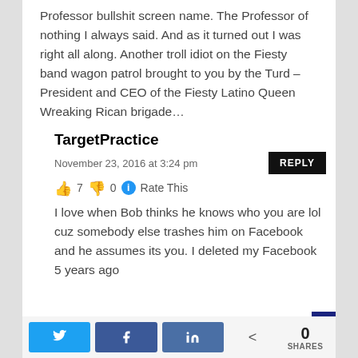Professor bullshit screen name. The Professor of nothing I always said. And as it turned out I was right all along. Another troll idiot on the Fiesty band wagon patrol brought to you by the Turd – President and CEO of the Fiesty Latino Queen Wreaking Rican brigade…
TargetPractice
November 23, 2016 at 3:24 pm
👍 7 👎 0 ℹ Rate This
I love when Bob thinks he knows who you are lol cuz somebody else trashes him on Facebook and he assumes its you. I deleted my Facebook 5 years ago